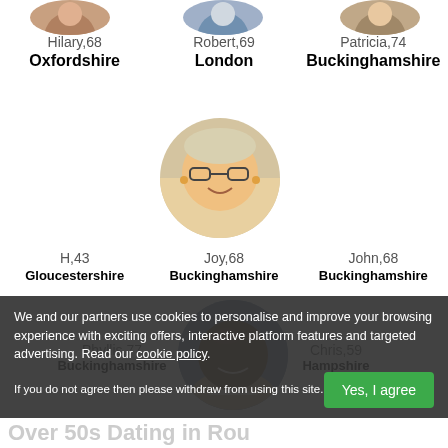[Figure (photo): Circular profile photo of Hilary, partially visible at top]
Hilary,68
Oxfordshire
[Figure (photo): Circular profile photo of Robert, partially visible at top]
Robert,69
London
[Figure (photo): Circular profile photo of Patricia, partially visible at top]
Patricia,74
Buckinghamshire
[Figure (photo): Circular profile photo of Joy, woman with glasses and short blond hair]
H,43
Gloucestershire
Joy,68
Buckinghamshire
John,68
Buckinghamshire
[Figure (photo): Circular profile photo of Chris, smiling man]
Phyllis,77
Buckinghamshire
Chris,59
Hampshire
We and our partners use cookies to personalise and improve your browsing experience with exciting offers, interactive platform features and targeted advertising. Read our cookie policy.
If you do not agree then please withdraw from using this site.
Yes, I agree
Over 50s Dating in Rou...